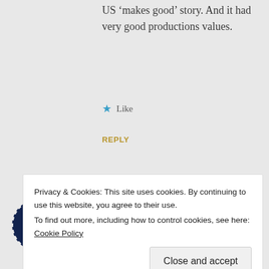US ‘makes good’ story. And it had very good productions values.
★ Like
REPLY
[Figure (illustration): Dark navy circular avatar icon with a white grid/dots pattern (4 white squares arranged in 2x2 grid), representing user Ian]
Ian
JULY 28, 2016 AT 8:44 PM
Hi,
Privacy & Cookies: This site uses cookies. By continuing to use this website, you agree to their use. To find out more, including how to control cookies, see here: Cookie Policy
Close and accept
of Saul. The Measure Of A Man & The Nice